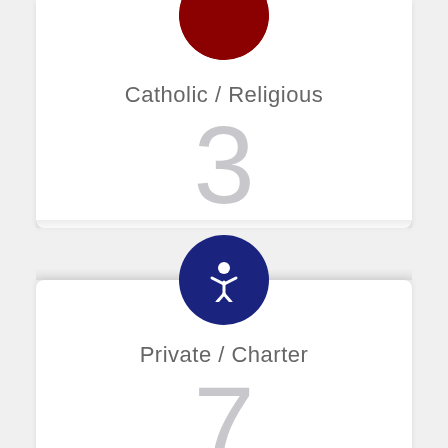[Figure (infographic): Dark red circle icon (partially cropped at top) for Catholic / Religious school category]
Catholic / Religious
3
[Figure (infographic): Dark navy blue circle with white figure/person icon for Private / Charter school category]
Private / Charter
7